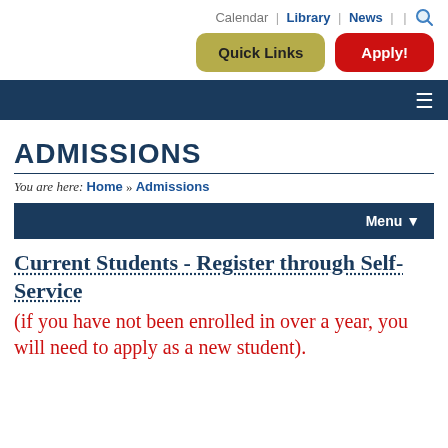Calendar | Library | News | |
Quick Links  Apply!
ADMISSIONS
You are here: Home » Admissions
Menu
Current Students - Register through Self-Service
(if you have not been enrolled in over a year, you will need to apply as a new student).